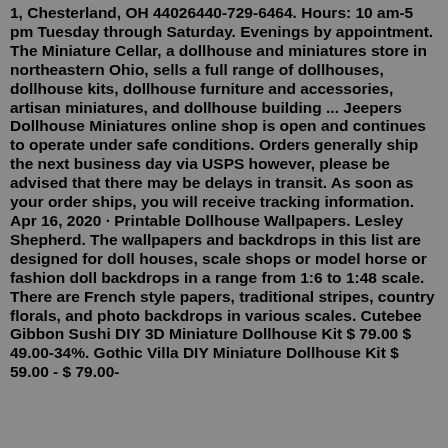1, Chesterland, OH 44026440-729-6464. Hours: 10 am-5 pm Tuesday through Saturday. Evenings by appointment. The Miniature Cellar, a dollhouse and miniatures store in northeastern Ohio, sells a full range of dollhouses, dollhouse kits, dollhouse furniture and accessories, artisan miniatures, and dollhouse building ... Jeepers Dollhouse Miniatures online shop is open and continues to operate under safe conditions. Orders generally ship the next business day via USPS however, please be advised that there may be delays in transit. As soon as your order ships, you will receive tracking information. Apr 16, 2020 · Printable Dollhouse Wallpapers. Lesley Shepherd. The wallpapers and backdrops in this list are designed for doll houses, scale shops or model horse or fashion doll backdrops in a range from 1:6 to 1:48 scale. There are French style papers, traditional stripes, country florals, and photo backdrops in various scales. Cutebee Gibbon Sushi DIY 3D Miniature Dollhouse Kit $ 79.00 $ 49.00-34%. Gothic Villa DIY Miniature Dollhouse Kit $ 59.00 - $ 79.00-